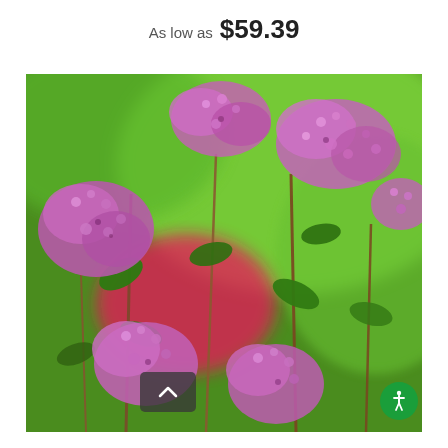As low as  $59.39
[Figure (photo): Close-up photograph of a spirea shrub in bloom with clusters of small pink/purple flowers and green leaves, with a blurred green and magenta background.]